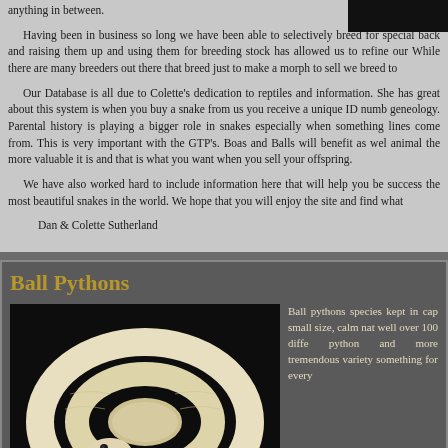anything in between.
Having been in business so long we have been able to selectively breed for special back and raising them up and using them for breeding stock has allowed us to refine our While there are many breeders out there that breed just to make a morph to sell we breed to
Our Database is all due to Colette's dedication to reptiles and information. She has great about this system is when you buy a snake from us you receive a unique ID numb geneology. Parental history is playing a bigger role in snakes especially when something lines come from. This is very important with the GTP's. Boas and Balls will benefit as wel animal the more valuable it is and that is what you want when you sell your offspring.
We have also worked hard to include information here that will help you be success the most beautiful snakes in the world. We hope that you will enjoy the site and find what
Dan & Colette Sutherland
Ball Pythons
[Figure (photo): A white/albino ball python coiled on a dark background, showing its cream-colored scales and dark eyes]
Ball pythons species kept in cap small size, calm nat well over 100 diffe python and more tremendous variety something for every